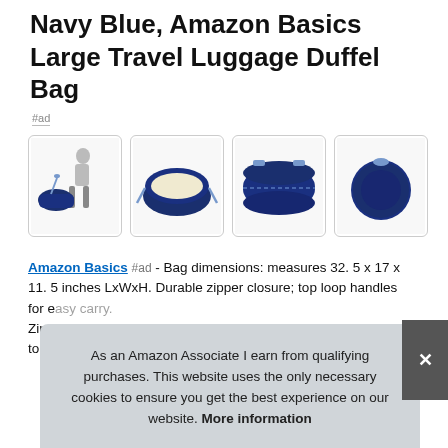Navy Blue, Amazon Basics Large Travel Luggage Duffel Bag
#ad
[Figure (photo): Four product photos of a navy blue Amazon Basics large travel duffel bag: person carrying bag, bag open showing interior, bag closed side view, bag closed end view]
Amazon Basics #ad - Bag dimensions: measures 32. 5 x 17 x 11. 5 inches LxWxH. Durable zipper closure; top loop handles for e... Zipp... to s...
As an Amazon Associate I earn from qualifying purchases. This website uses the only necessary cookies to ensure you get the best experience on our website. More information